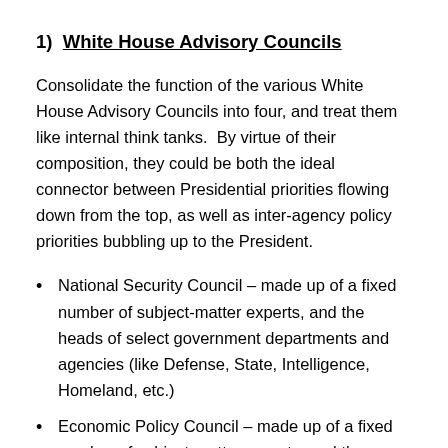1)  White House Advisory Councils
Consolidate the function of the various White House Advisory Councils into four, and treat them like internal think tanks.  By virtue of their composition, they could be both the ideal connector between Presidential priorities flowing down from the top, as well as inter-agency policy priorities bubbling up to the President.
National Security Council – made up of a fixed number of subject-matter experts, and the heads of select government departments and agencies (like Defense, State, Intelligence, Homeland, etc.)
Economic Policy Council – made up of a fixed number of subject-matter experts, and the heads of